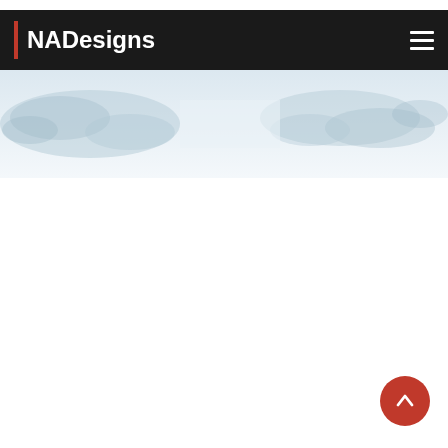implementation and beyond, we offer a one-stop solution. start by a chat.
NADesigns
[Figure (photo): Wide banner image showing a faded world map / landscape background in light blue-grey tones]
[Figure (other): Scroll-to-top button: red circle with white upward chevron arrow, positioned bottom-right]